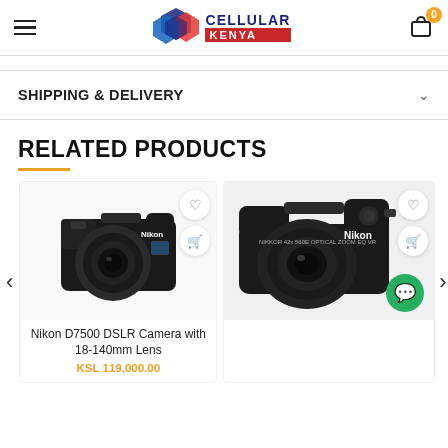Cellular Kenya — navigation header with hamburger menu, logo, and cart icon
SHIPPING & DELIVERY
RELATED PRODUCTS
[Figure (photo): Nikon D7500 DSLR Camera with 18-140mm Lens product photo]
Nikon D7500 DSLR Camera with 18-140mm Lens
KSL 119,000.00
[Figure (photo): Nikon bridge/compact camera product photo, partially visible]